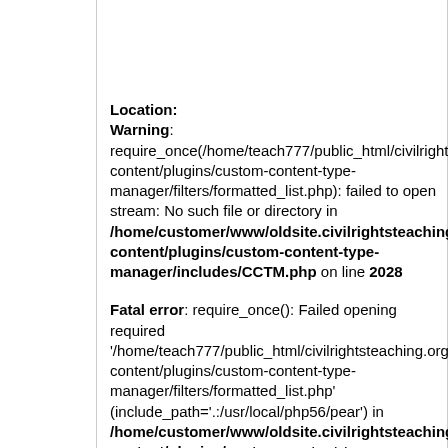Location:
Warning: require_once(/home/teach777/public_html/civilrightsteaching.org/wp-content/plugins/custom-content-type-manager/filters/formatted_list.php): failed to open stream: No such file or directory in /home/customer/www/oldsite.civilrightsteaching.org/wp-content/plugins/custom-content-type-manager/includes/CCTM.php on line 2028
Fatal error: require_once(): Failed opening required '/home/teach777/public_html/civilrightsteaching.org/wp-content/plugins/custom-content-type-manager/filters/formatted_list.php' (include_path='.:/usr/local/php56/pear') in /home/customer/www/oldsite.civilrightsteaching.org/wp-content/plugins/custom-content-type-manager/includes/CCTM.php on line 2028